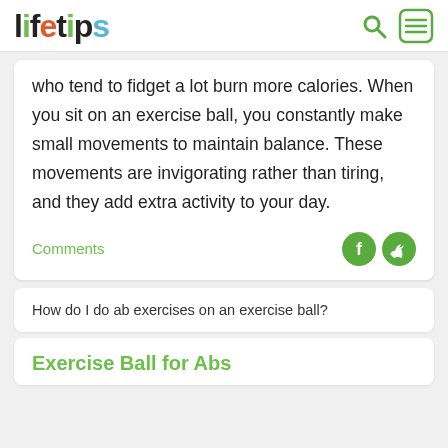lifetips
who tend to fidget a lot burn more calories. When you sit on an exercise ball, you constantly make small movements to maintain balance. These movements are invigorating rather than tiring, and they add extra activity to your day.
Comments
How do I do ab exercises on an exercise ball?
Exercise Ball for Abs